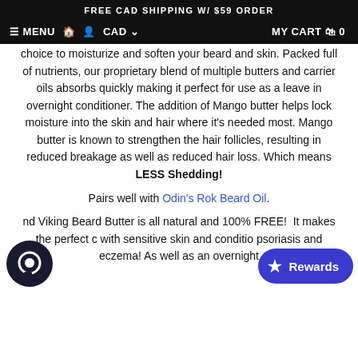FREE CAD SHIPPING W/ $59 ORDER
≡ MENU  🏠  👤  CAD ˅    MY CART 🛒 0
choice to moisturize and soften your beard and skin. Packed full of nutrients, our proprietary blend of multiple butters and carrier oils absorbs quickly making it perfect for use as a leave in overnight conditioner. The addition of Mango butter helps lock moisture into the skin and hair where it's needed most. Mango butter is known to strengthen the hair follicles, resulting in reduced breakage as well as reduced hair loss. Which means LESS Shedding!
Pairs well with Odin's Rok Beard Oil.
nd Viking Beard Butter is all natural and 100% FREE!  It makes the perfect c with sensitive skin and conditio psoriasis and eczema! As well as an overnight